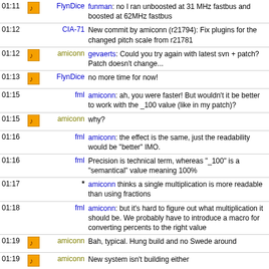| Time | Icon | Nick | Message |
| --- | --- | --- | --- |
| 01:11 | icon | FlynDice | funman: no I ran unboosted at 31 MHz fastbus and boosted at 62MHz fastbus |
| 01:12 |  | CIA-71 | New commit by amiconn (r21794): Fix plugins for the changed pitch scale from r21781 |
| 01:12 | icon | amiconn | gevaerts: Could you try again with latest svn + patch? Patch doesn't change... |
| 01:13 | icon | FlynDice | no more time for now! |
| 01:15 |  | fml | amiconn: ah, you were faster! But wouldn't it be better to work with the _100 value (like in my patch)? |
| 01:15 | icon | amiconn | why? |
| 01:16 |  | fml | amiconn: the effect is the same, just the readability would be "better" IMO. |
| 01:16 |  | fml | Precision is technical term, whereas "_100" is a "semantical" value meaning 100% |
| 01:17 |  | * | amiconn thinks a single multiplication is more readable than using fractions |
| 01:18 |  | fml | amiconn: but it's hard to figure out what multiplication it should be. We probably have to introduce a macro for converting percents to the right value |
| 01:19 | icon | amiconn | Bah, typical. Hung build and no Swede around |
| 01:19 | icon | amiconn | New system isn't building either |
| 01:19 | icon | linuxstb | gevaerts: Have you looked at FS #4755? Any idea how committable (or not) it is? |
| 01:20 | icon | gevaerts | amiconn: ipod video seems to be fine |
| 01:21 | icon | saratoga | funman: somone on ABI mentioned graphical corruption |